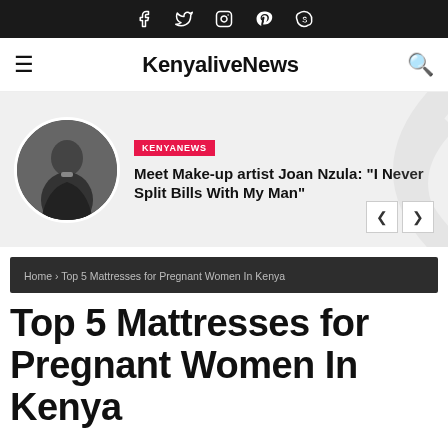Social icons: Facebook, Twitter, Instagram, Pinterest, Skype
KenyaliveNews
[Figure (infographic): Featured article banner with circular portrait of Joan Nzula and KENYANEWS tag]
KENYANEWS
Meet Make-up artist Joan Nzula: “I Never Split Bills With My Man”
Home › Top 5 Mattresses for Pregnant Women In Kenya
Top 5 Mattresses for Pregnant Women In Kenya